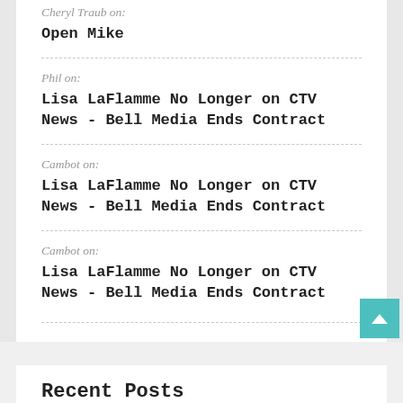Cheryl Traub on:
Open Mike
Phil on:
Lisa LaFlamme No Longer on CTV News - Bell Media Ends Contract
Cambot on:
Lisa LaFlamme No Longer on CTV News - Bell Media Ends Contract
Cambot on:
Lisa LaFlamme No Longer on CTV News - Bell Media Ends Contract
Recent Posts